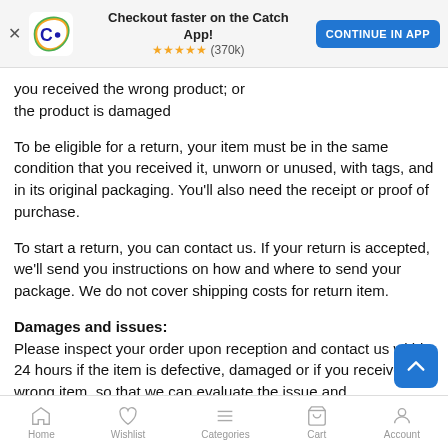Checkout faster on the Catch App! ★★★★★ (370k) CONTINUE IN APP
you received the wrong product; or the product is damaged
To be eligible for a return, your item must be in the same condition that you received it, unworn or unused, with tags, and in its original packaging. You'll also need the receipt or proof of purchase.
To start a return, you can contact us. If your return is accepted, we'll send you instructions on how and where to send your package. We do not cover shipping costs for return item.
Damages and issues:
Please inspect your order upon reception and contact us within 24 hours if the item is defective, damaged or if you receive the wrong item, so that we can evaluate the issue and
Home  Wishlist  Categories  Cart  Account